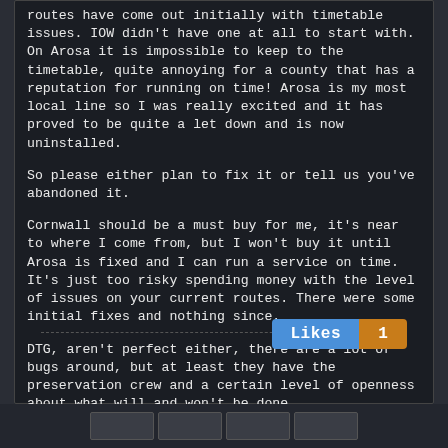routes have come out initially with timetable issues. IOW didn't have one at all to start with. On Arosa it is impossible to keep to the timetable, quite annoying for a county that has a reputation for running on time! Arosa is my most local line so I was really excited and it has proved to be quite a let down and is now uninstalled.

So please either plan to fix it or tell us you've abandoned it.

Cornwall should be a must buy for me, it's near to where I come from, but I won't buy it until Arosa is fixed and I can run a service on time. It's just too risky spending money with the level of issues on your current routes. There were some initial fixes and nothing since.

DTG, aren't perfect either, there are a lot of bugs around, but at least they have the preservation crew and a certain level of openness about what will and won't be done.